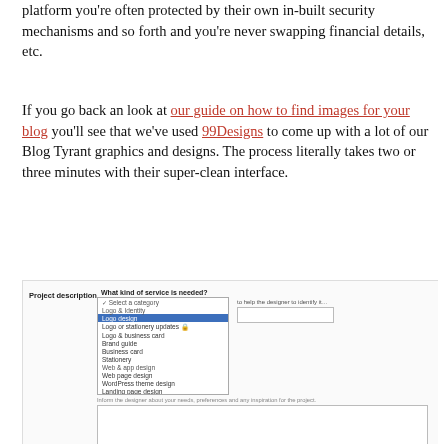platform you're often protected by their own in-built security mechanisms and so forth and you're never swapping financial details, etc.
If you go back an look at our guide on how to find images for your blog you'll see that we've used 99Designs to come up with a lot of our Blog Tyrant graphics and designs. The process literally takes two or three minutes with their super-clean interface.
[Figure (screenshot): Screenshot of a web form showing 'Project description' and 'What kind of service is needed?' with a dropdown menu listing logo design options highlighted in blue, a text area for project description, and 'Project details' and 'Deadline' labels at the bottom.]